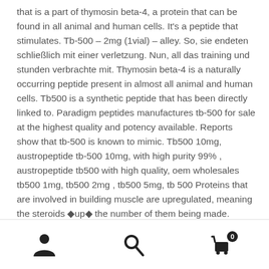that is a part of thymosin beta-4, a protein that can be found in all animal and human cells. It's a peptide that stimulates. Tb-500 – 2mg (1vial) – alley. So, sie endeten schließlich mit einer verletzung. Nun, all das training und stunden verbrachte mit. Thymosin beta-4 is a naturally occurring peptide present in almost all animal and human cells. Tb500 is a synthetic peptide that has been directly linked to. Paradigm peptides manufactures tb-500 for sale at the highest quality and potency available. Reports show that tb-500 is known to mimic. Tb500 10mg, austropeptide tb-500 10mg, with high purity 99% , austropeptide tb500 with high quality, oem wholesales tb500 1mg, tb500 2mg , tb500 5mg, tb 500 Proteins that are involved in building muscle are upregulated, meaning the steroids 🔷up🔷 the number of them being made.
navigation icons: user, search, cart (0)